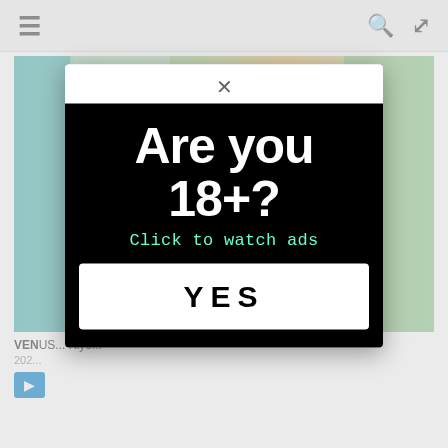≡   🔍  ⛶
[Figure (screenshot): Background webpage with Japanese adult DVD cover images and partial page content showing 'VENUS' title, 'Kiyo...' name, '202...' date, and a blue play button]
[Figure (infographic): Age verification popup modal with black background. Large white bold text reads 'Are you 18+?' followed by green text 'Click to watch ads' and a white YES button]
Are you 18+?
Click to watch ads
YES